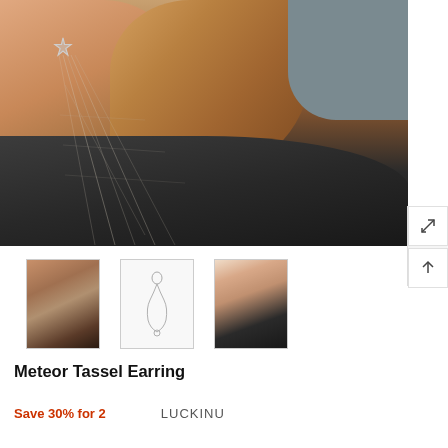[Figure (photo): Close-up photo of a woman wearing a meteor tassel earring with a star charm and thin chain threads falling across her neck, wearing a dark top, with auburn/blonde hair visible]
[Figure (photo): Three product thumbnail images: left shows ear with chain earring, center shows earring product on white background, right shows model wearing earring]
Meteor Tassel Earring
Save 30% for 2    LUCKINU